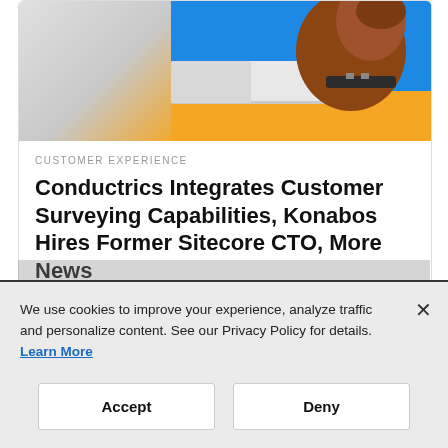[Figure (photo): Partial photo of a dog near a laptop on a blue/orange background]
CUSTOMER EXPERIENCE
Conductrics Integrates Customer Surveying Capabilities, Konabos Hires Former Sitecore CTO, More News
We use cookies to improve your experience, analyze traffic and personalize content. See our Privacy Policy for details. Learn More
Accept
Deny